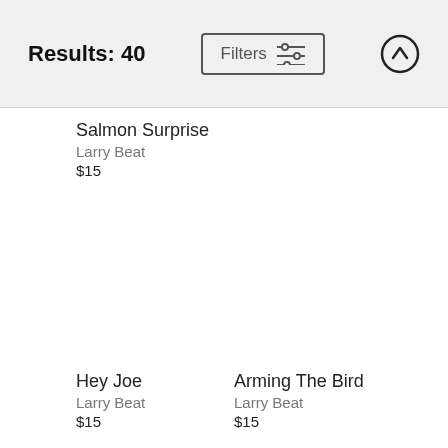Results: 40
Salmon Surprise
Larry Beat
$15
Hey Joe
Larry Beat
$15
Arming The Bird
Larry Beat
$15